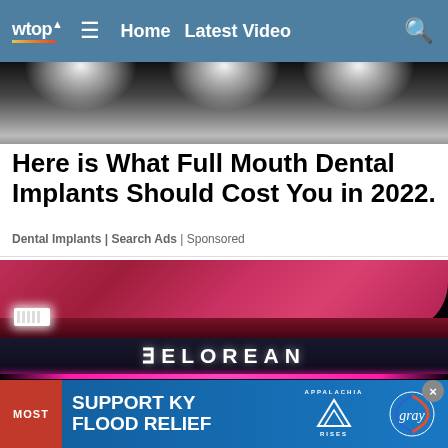wtop | Home | Latest Video
[Figure (photo): Top portion of an article image showing bright stage lights on dark background]
Here is What Full Mouth Dental Implants Should Cost You in 2022.
Dental Implants | Search Ads | Sponsored
[Figure (photo): Close-up of a pink/magenta DeLorean electric car showing the illuminated DELOREAN logo badge and a pink light strip on dark background]
MOST
SUPPORT KY FLOOD RELIEF
[Figure (logo): Appalachia Rises logo with mountain graphic]
[Figure (logo): Gray Television logo]